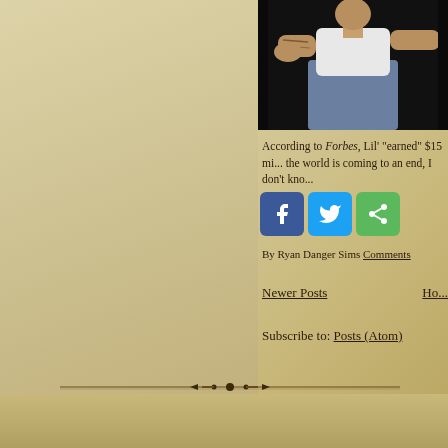[Figure (photo): Photo of a tattooed man in a white tank top and jeans, seated against a dark background]
According to Forbes, Lil' "earned" $15 mi... the world is coming to an end, I don't kno...
[Figure (infographic): Social sharing buttons: Facebook (blue), Twitter (light blue), Share (green)]
By Ryan Danger Sims Comments
Newer Posts    Ho...
Subscribe to: Posts (Atom)